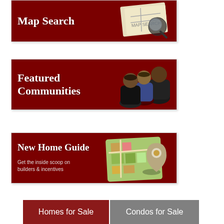[Figure (illustration): Map Search banner button with dark red background, white bold text 'Map Search' on left, and a map with magnifying glass illustration on right]
[Figure (illustration): Featured Communities banner button with dark red background, white bold text 'Featured Communities' on left, and 3D people/community figures illustration on right]
[Figure (illustration): New Home Guide banner button with dark red background, white text 'New Home Guide' and subtitle 'Get the inside scoop on builders & incentives' on left, and a map pin on neighborhood map illustration on right]
[Figure (illustration): Two tab buttons at bottom: 'Homes for Sale' in dark red and 'Condos for Sale' in gray]